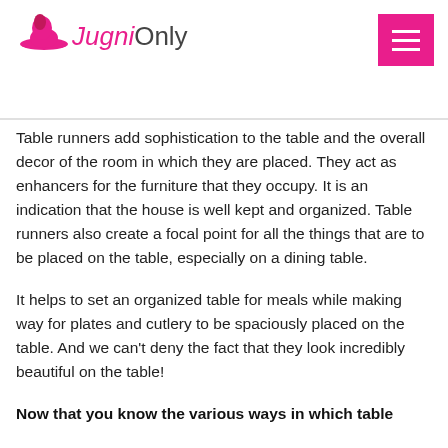JugniOnly
Table runners add sophistication to the table and the overall decor of the room in which they are placed. They act as enhancers for the furniture that they occupy. It is an indication that the house is well kept and organized. Table runners also create a focal point for all the things that are to be placed on the table, especially on a dining table.
It helps to set an organized table for meals while making way for plates and cutlery to be spaciously placed on the table. And we can’t deny the fact that they look incredibly beautiful on the table!
Now that you know the various ways in which table